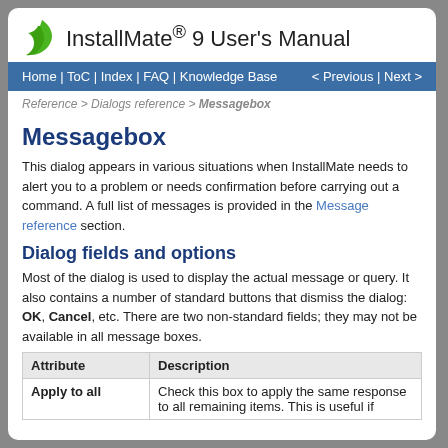InstallMate® 9 User's Manual
Home | ToC | Index | FAQ | Knowledge Base  < Previous | Next >
Reference > Dialogs reference > Messagebox
Messagebox
This dialog appears in various situations when InstallMate needs to alert you to a problem or needs confirmation before carrying out a command. A full list of messages is provided in the Message reference section.
Dialog fields and options
Most of the dialog is used to display the actual message or query. It also contains a number of standard buttons that dismiss the dialog: OK, Cancel, etc. There are two non-standard fields; they may not be available in all message boxes.
| Attribute | Description |
| --- | --- |
| Apply to all | Check this box to apply the same response to all remaining items. This is useful if |